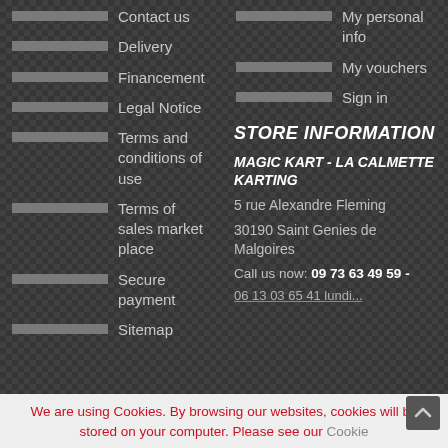Contact us
My personal info
Delivery
My vouchers
Financement
Sign in
Legal Notice
Terms and conditions of use
Terms of sales market place
Secure payment
Sitemap
STORE INFORMATION
MAGIC KART - LA CALMETTE KARTING
5 rue Alexandre Fleming
30190 Saint Genies de Malgoires
Call us now: 09 73 63 49 59 -
06 13 03 65 41 lundi...
We are using Cookies. By browsing our websites, cookies will be stored on your computer. Please see our Cookie